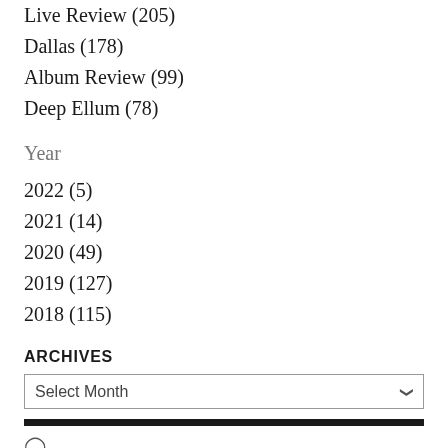Live Review (205)
Dallas (178)
Album Review (99)
Deep Ellum (78)
Year
2022 (5)
2021 (14)
2020 (49)
2019 (127)
2018 (115)
ARCHIVES
Select Month